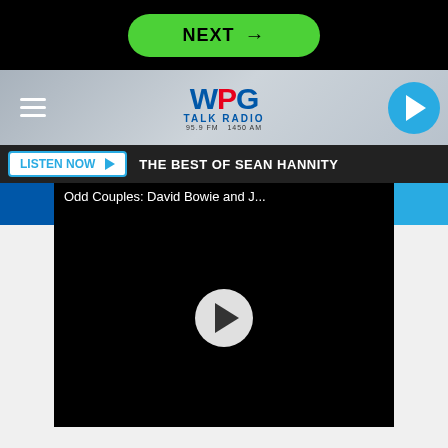[Figure (screenshot): Green 'NEXT →' button on black background]
[Figure (logo): WPG Talk Radio 95.9 FM 1450 AM logo with hamburger menu and play button]
LISTEN NOW ▶  THE BEST OF SEAN HANNITY
[Figure (screenshot): Video player with title 'Odd Couples: David Bowie and J...' and play button on black screen]
The crash also killed Kevin's brother, Jimmy Quispe-Prieto, 23, as well as Victor Lugo, a 24-year-old U.S. Marine, and Robert Ordeñana, a 23-year-old public works employee who was planning on becoming a police officer like his